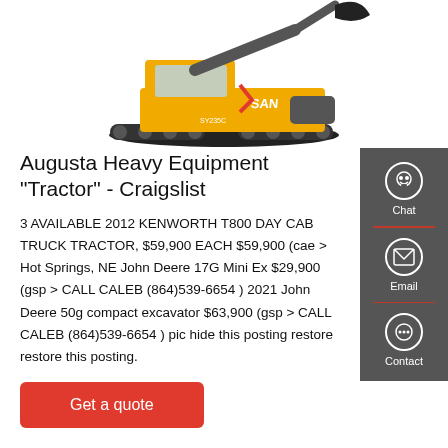[Figure (photo): Yellow Sany excavator/crawler on white background, model SY235C]
Augusta Heavy Equipment "Tractor" - Craigslist
3 AVAILABLE 2012 KENWORTH T800 DAY CAB TRUCK TRACTOR, $59,900 EACH $59,900 (cae > Hot Springs, NE John Deere 17G Mini Ex $29,900 (gsp > CALL CALEB (864)539-6654 ) 2021 John Deere 50g compact excavator $63,900 (gsp > CALL CALEB (864)539-6654 ) pic hide this posting restore restore this posting.
[Figure (other): Get a quote button (red)]